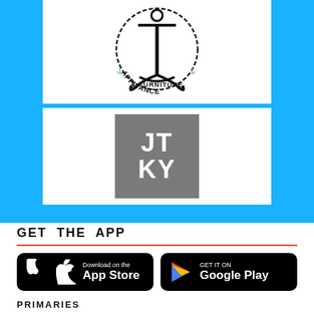[Figure (logo): Anchor appliance and furniture circular rope logo]
[Figure (logo): JTKY grey square logo with white letters JT KY]
GET THE APP
[Figure (logo): Download on the App Store button]
[Figure (logo): Get it on Google Play button]
PRIMARIES